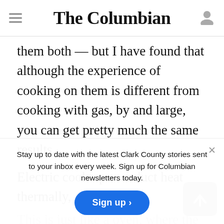The Columbian
them both — but I have found that although the experience of cooking on them is different from cooking with gas, by and large, you can get pretty much the same results.
Electric cooktops conduct heat thermally,
Stay up to date with the latest Clark County stories sent to your inbox every week. Sign up for Columbian newsletters today.